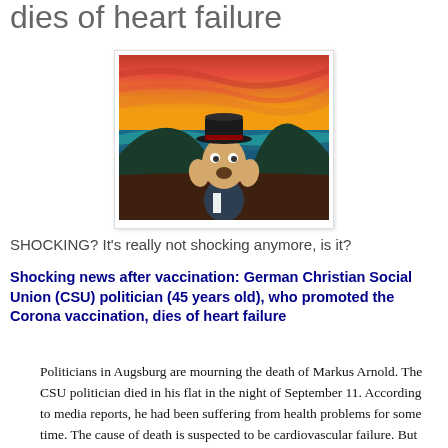dies of heart failure
[Figure (illustration): A parody of The Scream painting by Edvard Munch, where the screaming figure is dressed in a black bowler hat and suit, against a red and orange swirling sky background.]
SHOCKING? It’s really not shocking anymore, is it?
Shocking news after vaccination: German Christian Social Union (CSU) politician (45 years old), who promoted the Corona vaccination, dies of heart failure
Politicians in Augsburg are mourning the death of Markus Arnold. The CSU politician died in his flat in the night of September 11. According to media reports, he had been suffering from health problems for some time. The cause of death is suspected to be cardiovascular failure. But then, a week after his